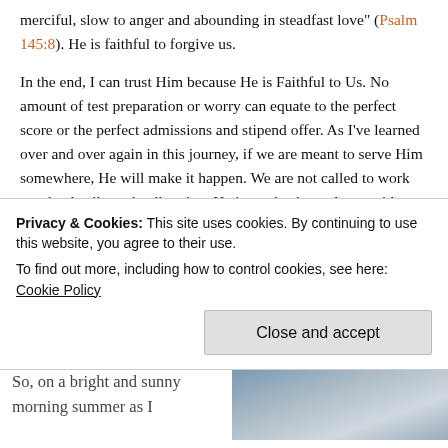merciful, slow to anger and abounding in steadfast love" (Psalm 145:8). He is faithful to forgive us.
In the end, I can trust Him because He is Faithful to Us. No amount of test preparation or worry can equate to the perfect score or the perfect admissions and stipend offer. As I've learned over and over again in this journey, if we are meant to serve Him somewhere, He will make it happen. We are not called to work out the details or the direction. He is our leader and our guide. Because He first loved us, we love Him, and our desire to please Him is a result of His love for us. I prepared for this test in order to be faithful as a servant of His. His are the results and mine is the stability in knowing that...
Privacy & Cookies: This site uses cookies. By continuing to use this website, you agree to their use.
To find out more, including how to control cookies, see here: Cookie Policy
Close and accept
So, on a bright and sunny morning summer as I
[Figure (photo): A sky photo with gradient from blue-grey to light grey tones]